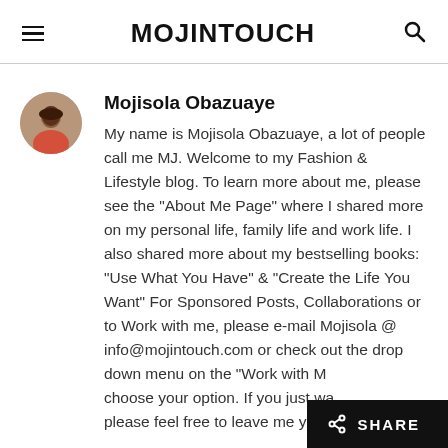MOJINTOUCH
Mojisola Obazuaye
My name is Mojisola Obazuaye, a lot of people call me MJ. Welcome to my Fashion & Lifestyle blog. To learn more about me, please see the "About Me Page" where I shared more on my personal life, family life and work life. I also shared more about my bestselling books: "Use What You Have" & "Create the Life You Want" For Sponsored Posts, Collaborations or to Work with me, please e-mail Mojisola @ info@mojintouch.com or check out the drop down menu on the "Work with M... choose your option. If you just wa... please feel free to leave me your comments or